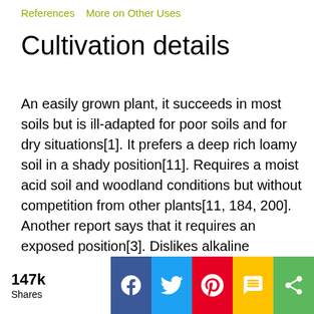References   More on Other Uses
Cultivation details
An easily grown plant, it succeeds in most soils but is ill-adapted for poor soils and for dry situations[1]. It prefers a deep rich loamy soil in a shady position[11]. Requires a moist acid soil and woodland conditions but without competition from other plants[11, 184, 200]. Another report says that it requires an exposed position[3]. Dislikes alkaline soils[184]. Best if given shade from the early morning sun in spring[200]. A very hardy plant, tolerating temperatures down to about -30°c[184]. Plants are self-incompatible and need to grow close to a genetically distinct plant in the same species in order to produce fruit and fertile seed[11, 200]. Plants are often self-layering in the wild and form thickets[184]. This species is closely related to V. furcatum[184]